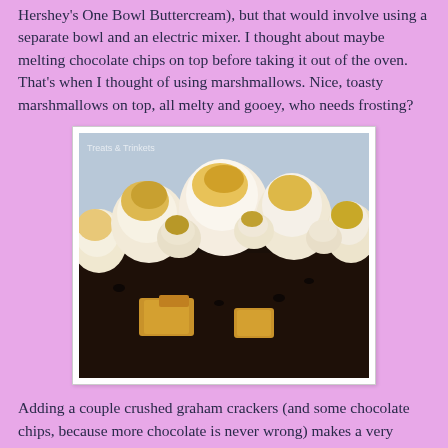Hershey's One Bowl Buttercream), but that would involve using a separate bowl and an electric mixer. I thought about maybe melting chocolate chips on top before taking it out of the oven. That's when I thought of using marshmallows. Nice, toasty marshmallows on top, all melty and gooey, who needs frosting?
[Figure (photo): Close-up photo of s'mores brownies topped with large toasted marshmallows and pieces of graham cracker, with a watermark reading 'Treats & Trinkets']
Adding a couple crushed graham crackers (and some chocolate chips, because more chocolate is never wrong) makes a very simple, very easy, and very delicious s'mores cake.